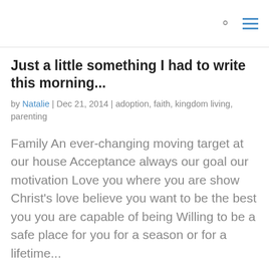🔍 ≡
Just a little something I had to write this morning...
by Natalie | Dec 21, 2014 | adoption, faith, kingdom living, parenting
Family An ever-changing moving target at our house Acceptance always our goal our motivation Love you where you are show Christ's love believe you want to be the best you you are capable of being Willing to be a safe place for you for a season or for a lifetime...